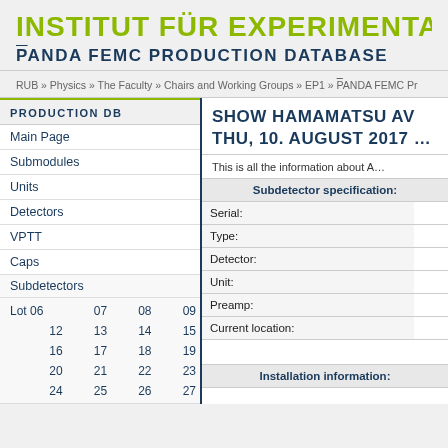INSTITUT FÜR EXPERIMENTALPHYS…
PANDA FEMC PRODUCTION DATABASE
RUB » Physics » The Faculty » Chairs and Working Groups » EP1 » PANDA FEMC Pr…
PRODUCTION DB
Main Page
Submodules
Units
Detectors
VPTT
Caps
Subdetectors
| Lot | 06 | 07 | 08 | 09 |
| --- | --- | --- | --- | --- |
|  | 12 | 13 | 14 | 15 |
|  | 16 | 17 | 18 | 19 |
|  | 20 | 21 | 22 | 23 |
|  | 24 | 25 | 26 | 27 |
SHOW HAMAMATSU AV… THU, 10. AUGUST 2017 …
This is all the information about A…
| Subdetector specification: |
| --- |
| Serial: |  |
| Type: |  |
| Detector: |  |
| Unit: |  |
| Preamp: |  |
| Current location: |  |
| Installation information: |  |